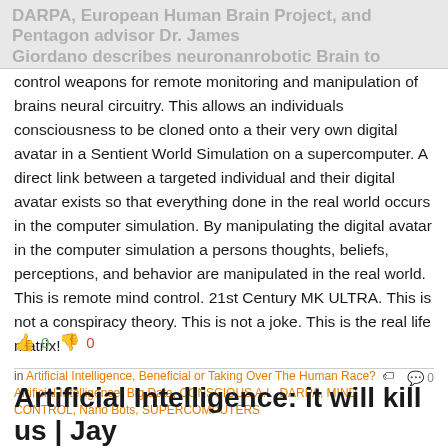DARPA, European Human Brain Project, and Pentagon advisor Dr. James Giordano describes neuronanrobotic Brain to computer interface mind
control weapons for remote monitoring and manipulation of brains neural circuitry. This allows an individuals consciousness to be cloned onto a their very own digital avatar in a Sentient World Simulation on a supercomputer. A direct link between a targeted individual and their digital avatar exists so that everything done in the real world occurs in the computer simulation. By manipulating the digital avatar in the computer simulation a persons thoughts, beliefs, perceptions, and behavior are manipulated in the real world. This is remote mind control. 21st Century MK ULTRA. This is not a conspiracy theory. This is not a joke. This is the real life matrix!
👍 0  👎 0
in Artificial Intelligence, Beneficial or Taking Over The Human Race? Artificial Intelligence, Big Data, CONSCIOUS A.I., DARPA, MIND CONTROL, Nano Bots, SUPERCOMPUTERS  💬 0
Artificial Intelligence: it will kill us | Jay